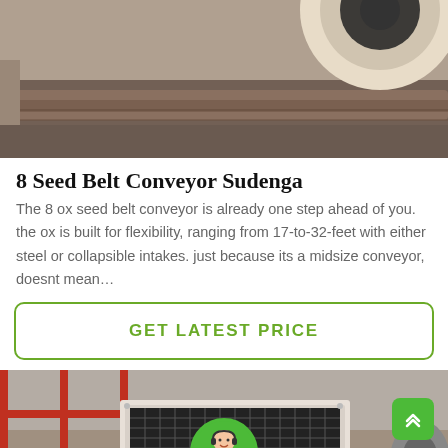[Figure (photo): Close-up photo of industrial belt conveyor pulley/drum, brown/grey machinery background]
8 Seed Belt Conveyor Sudenga
The 8 ox seed belt conveyor is already one step ahead of you. the ox is built for flexibility, ranging from 17-to-32-feet with either steel or collapsible intakes. just because its a midsize conveyor, doesnt mean…
GET LATEST PRICE
[Figure (photo): Industrial vibrating screen/separator machine in a factory setting with red metal scaffolding. Also shows a green scroll-to-top button and a customer service avatar at the bottom.]
Leave Message
Chat Online